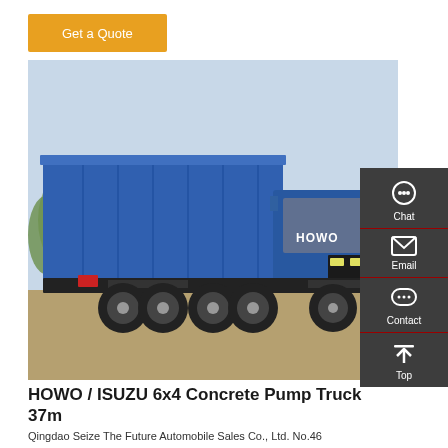Get a Quote
[Figure (photo): Blue HOWO dump truck (8x4) parked on a dirt road with trees in the background. The truck has a large blue tipper body.]
HOWO / ISUZU 6x4 Concrete Pump Truck 37m
Qingdao Seize The Future Automobile Sales Co., Ltd. No.46